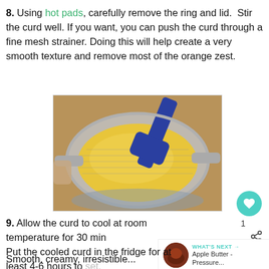8. Using hot pads, carefully remove the ring and lid. Stir the curd well. If you want, you can push the curd through a fine mesh strainer. Doing this will help create a very smooth texture and remove most of the orange zest.
[Figure (photo): Photo of yellow orange curd being pushed through a fine mesh strainer with a blue silicone spatula, viewed from above.]
9. Allow the curd to cool at room temperature for 30 min. Put the cooled curd in the fridge for at least 4-6 hours to set. Finished curd will keep in the fridge for up to o...
Smooth, creamy, irresistible...